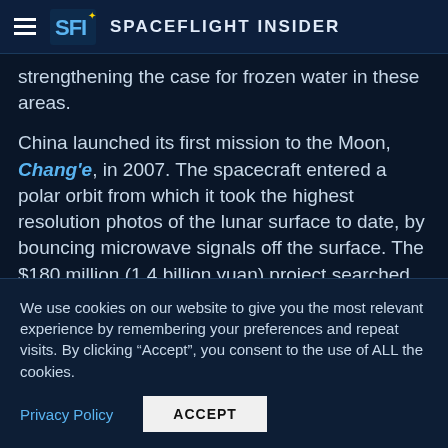Spaceflight Insider
strengthening the case for frozen water in these areas.
China launched its first mission to the Moon, Chang'e, in 2007. The spacecraft entered a polar orbit from which it took the highest resolution photos of the lunar surface to date, by bouncing microwave signals off the surface. The $180 million (1.4 billion yuan) project searched for Helium-3, an element that could potentially power nuclear reactors, studied the Moon's composition and depth, and mapped lunar
We use cookies on our website to give you the most relevant experience by remembering your preferences and repeat visits. By clicking “Accept”, you consent to the use of ALL the cookies.
Privacy Policy
ACCEPT